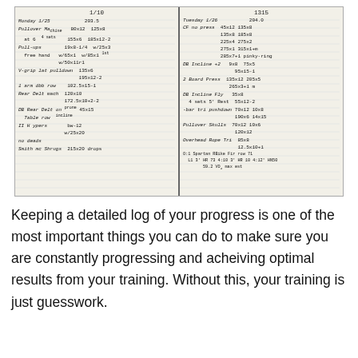[Figure (photo): A handwritten workout log notebook open to two pages. Left page header: 1/10, Monday 1/25, 203.5. Contains exercises: Pullover Machine at 6 (80x12, 125x8, 155x6, 185x12-2), Pull-ups free hand (19x8-1/4 w/65x1 w/50x11r1, w/25x3 w/85x1 1st), V-grip lat pulldown (135x6, 195x12-2), 1 arm dbb row (102.5x15-1), Rear Delt mach (120x10, 172.5x10+2-2), DB Rear Delt on prone table row (45x15), II Hyperextensions (bw-12, w/25x20), no deads, Smith machine Shrugs (215x20 drops). Right page header: 1315, Tuesday 1/26, 204.0. Contains: CF no press (45x12 135x8, 135x8 185x8, 225x4 275x2, 275x1 315x1+m, 285x7+1 pinky-ring), DB Incline +2 (9x8 75x5, 95x15-1), 2 Board Press (135x12 205x5, 265x3+1 m), DB Incline Fly 4 sets 5' Rest (35x8, 55x12-2), -bar tri pushdown (70x12 10x8, 190x6 14x15), Pullover Skulls (70x12 10x6, 120x12), Overhead Rope Tri (85x8, 12.5x10+1), O:1 Spartan RBike Fir row 71 L1 3' HR 73 4:10 3' HR 10 4:12' HN50, 59.2 VO2 max est]
Keeping a detailed log of your progress is one of the most important things you can do to make sure you are constantly progressing and acheiving optimal results from your training. Without this, your training is just guesswork.